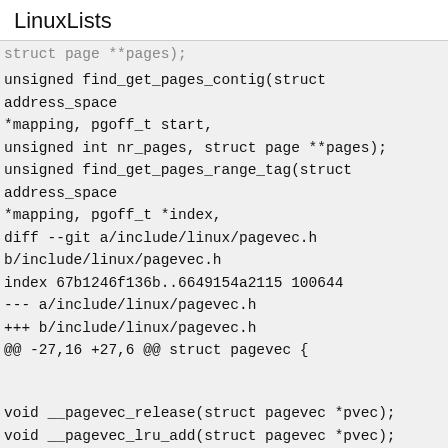LinuxLists
struct page **pages);
unsigned find_get_pages_contig(struct address_space
*mapping, pgoff_t start,
unsigned int nr_pages, struct page **pages);
unsigned find_get_pages_range_tag(struct address_space
*mapping, pgoff_t *index,
diff --git a/include/linux/pagevec.h b/include/linux/pagevec.h
index 67b1246f136b..6649154a2115 100644
--- a/include/linux/pagevec.h
+++ b/include/linux/pagevec.h
@@ -27,16 +27,6 @@ struct pagevec {

void __pagevec_release(struct pagevec *pvec);
void __pagevec_lru_add(struct pagevec *pvec);
-unsigned pagevec_lookup_range(struct pagevec *pvec,
- struct address_space *mapping,
- pgoff_t *start, pgoff_t end);